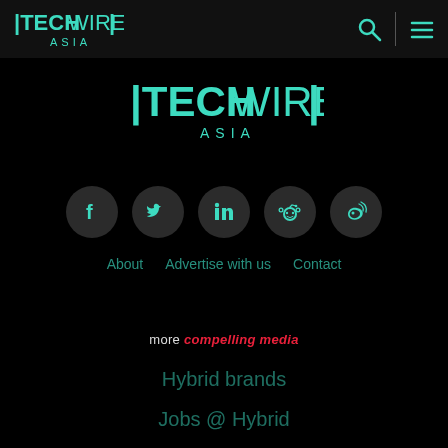TechWire Asia - navigation bar with logo, search and menu icons
[Figure (logo): TechWire Asia logo centered, teal color on dark background]
[Figure (infographic): Row of 5 social media icons (Facebook, Twitter, LinkedIn, Reddit, Weibo) as teal icons in dark circular buttons]
About   Advertise with us   Contact
more compelling media
Hybrid brands
Jobs @ Hybrid